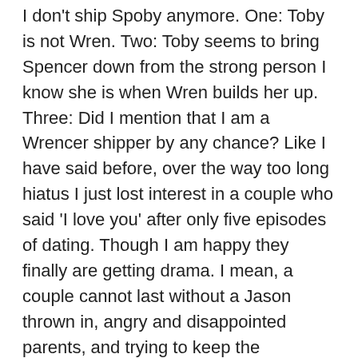I don't ship Spoby anymore. One: Toby is not Wren. Two: Toby seems to bring Spencer down from the strong person I know she is when Wren builds her up. Three: Did I mention that I am a Wrencer shipper by any chance? Like I have said before, over the way too long hiatus I just lost interest in a couple who said 'I love you' after only five episodes of dating. Though I am happy they finally are getting drama. I mean, a couple cannot last without a Jason thrown in, angry and disappointed parents, and trying to keep the relationship perfect. And yes that was an inference to Ezria, but I'll get back to my OTP a bit later in this comment.
Wren also handled the whole love-triangle thing with lots of respect and honest. I am so proud of